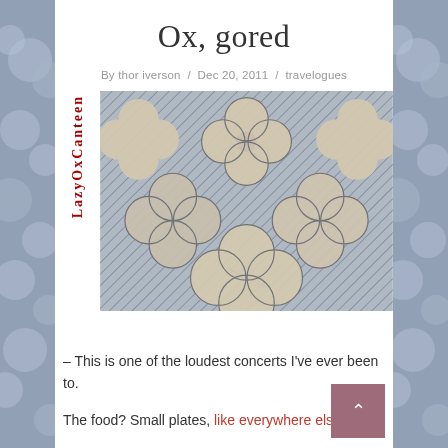Ox, gored
By thor iverson / Dec 20, 2011 / travelogues
[Figure (photo): Close-up photo of a decorative tile or textile pattern featuring interlocking quatrefoil/flower shapes in beige/cream on a blue-grey textured background]
LazyOxCanteen
– This is one of the loudest concerts I've ever been to.
The food? Small plates, like everywhere else, and